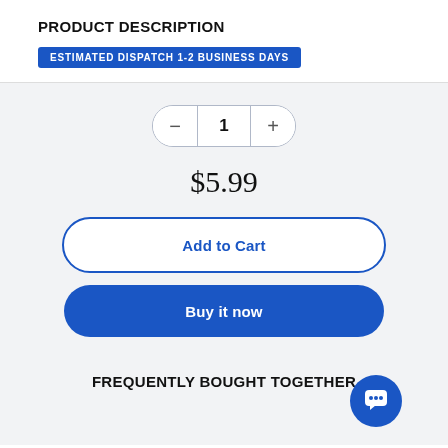PRODUCT DESCRIPTION
ESTIMATED DISPATCH 1-2 BUSINESS DAYS
1
$5.99
Add to Cart
Buy it now
FREQUENTLY BOUGHT TOGETHER